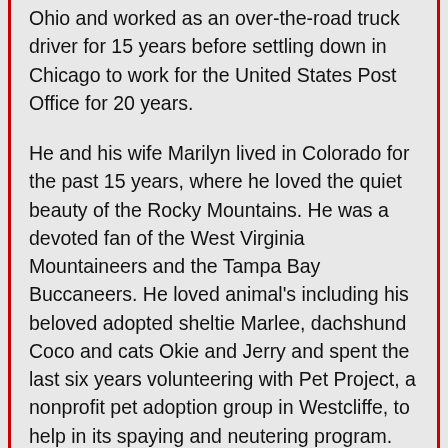Ohio and worked as an over-the-road truck driver for 15 years before settling down in Chicago to work for the United States Post Office for 20 years.
He and his wife Marilyn lived in Colorado for the past 15 years, where he loved the quiet beauty of the Rocky Mountains. He was a devoted fan of the West Virginia Mountaineers and the Tampa Bay Buccaneers. He loved animal's including his beloved adopted sheltie Marlee, dachshund Coco and cats Okie and Jerry and spent the last six years volunteering with Pet Project, a nonprofit pet adoption group in Westcliffe, to help in its spaying and neutering program. He regularly attended annual military reunions of the AC-119 Gunship Association. One of Marshall's biggest passions was riding motorcycles. His prized possession was his Harley Davidson trike custom painted to honor the men in his unit in Vietnam; both those who died and survived. He traveled with his trike all over the country to motorcycle shows and veterans' gatherings to remember his fellow veterans and advocate for prostate cancer awareness. He won top honors at